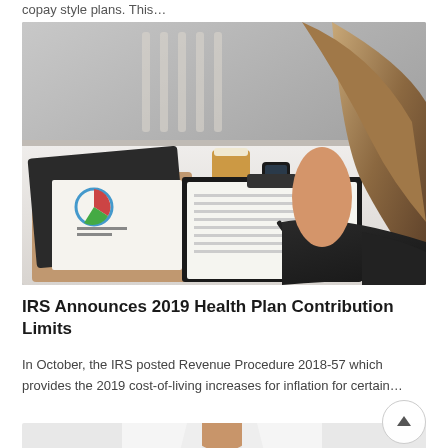copay style plans. This…
[Figure (photo): Woman in business attire writing on a clipboard at a desk with a laptop, coffee cup, and documents with charts]
IRS Announces 2019 Health Plan Contribution Limits
In October, the IRS posted Revenue Procedure 2018-57 which provides the 2019 cost-of-living increases for inflation for certain…
[Figure (photo): Doctor in white lab coat with stethoscope]